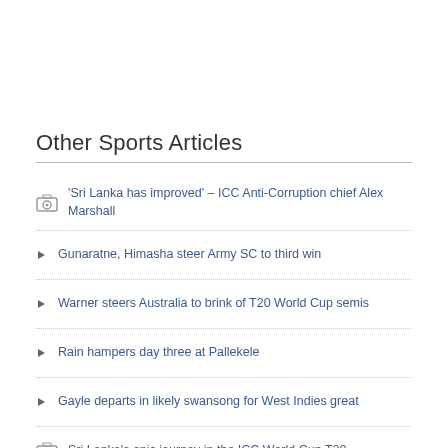Other Sports Articles
‘Sri Lanka has improved’ – ICC Anti-Corruption chief Alex Marshall
Gunaratne, Himasha steer Army SC to third win
Warner steers Australia to brink of T20 World Cup semis
Rain hampers day three at Pallekele
Gayle departs in likely swansong for West Indies great
Sri Lanka’s epic journey in the ICC World Cup T20
Women’s only table tennis on the cards
Wushu coaches’ training programme in Kandy